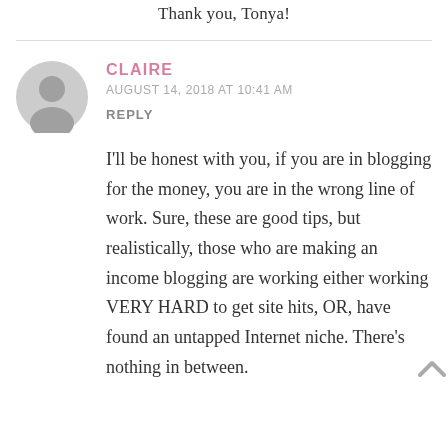Thank you, Tonya!
CLAIRE
AUGUST 14, 2018 AT 10:41 AM
REPLY
I'll be honest with you, if you are in blogging for the money, you are in the wrong line of work. Sure, these are good tips, but realistically, those who are making an income blogging are working either working VERY HARD to get site hits, OR, have found an untapped Internet niche. There's nothing in between.